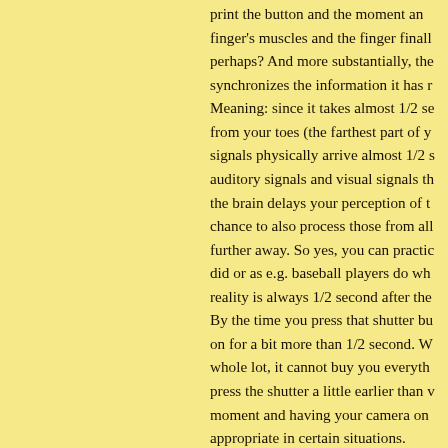print the button and the moment and finger's muscles and the finger finally perhaps? And more substantially, the synchronizes the information it has r Meaning: since it takes almost 1/2 se from your toes (the farthest part of y signals physically arrive almost 1/2 s auditory signals and visual signals th the brain delays your perception of t chance to also process those from all further away. So yes, you can practi did or as e.g. baseball players do wh reality is always 1/2 second after the By the time you press that shutter bu on for a bit more than 1/2 second. W whole lot, it cannot buy you everyth press the shutter a little earlier than v moment and having your camera on appropriate in certain situations.